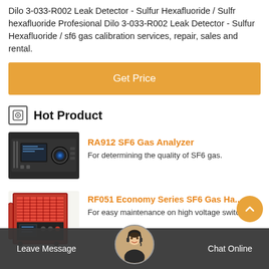Dilo 3-033-R002 Leak Detector - Sulfur Hexafluoride / Sulfr hexafluoride Profesional Dilo 3-033-R002 Leak Detector - Sulfur Hexafluoride / sf6 gas calibration services, repair, sales and rental.
Get Price
Hot Product
[Figure (photo): RA912 SF6 Gas Analyzer device - a rack-mounted electronic instrument]
RA912 SF6 Gas Analyzer
For determining the quality of SF6 gas.
[Figure (photo): RF051 Economy Series SF6 Gas Handling device - tall red industrial cabinet with control panel]
RF051 Economy Series SF6 Gas Ha...
For easy maintenance on high voltage switc...
Leave Message  Chat Online